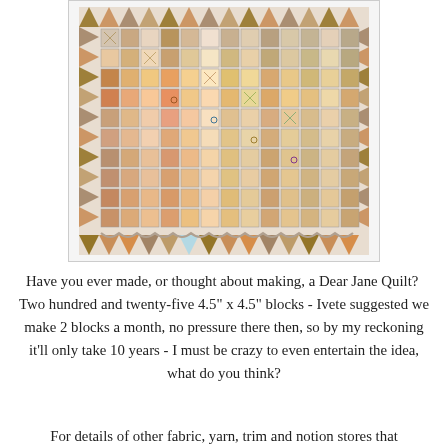[Figure (photo): A large, intricate Dear Jane Quilt featuring approximately 225 small square patchwork blocks arranged in a grid, with triangular border pieces around the edges. The quilt displays a wide variety of pieced and appliqued block patterns in earth tones, warm oranges, browns, pinks, and creams.]
Have you ever made, or thought about making, a Dear Jane Quilt?  Two hundred and twenty-five 4.5" x 4.5" blocks - Ivete suggested we make 2 blocks a month, no pressure there then, so by my reckoning it'll only take 10 years - I must be crazy to even entertain the idea, what do you think?
For details of other fabric, yarn, trim and notion stores that